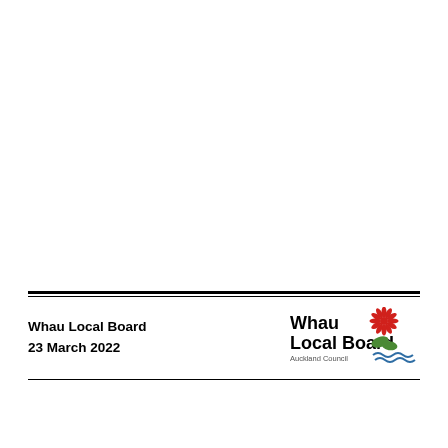Whau Local Board
23 March 2022